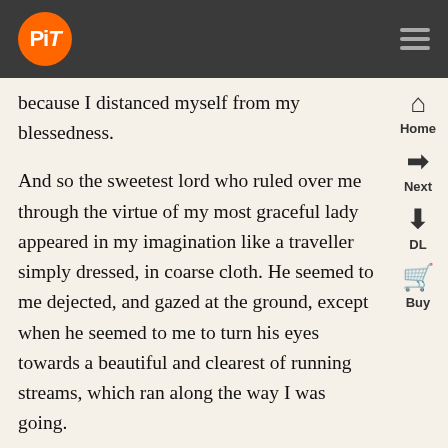PiT (logo) | hamburger menu
because I distanced myself from my blessedness.
And so the sweetest lord who ruled over me through the virtue of my most graceful lady appeared in my imagination like a traveller simply dressed, in coarse cloth. He seemed to me dejected, and gazed at the ground, except when he seemed to me to turn his eyes towards a beautiful and clearest of running streams, which ran along the way I was going.
It seemed to me that Amor called my name and said these words to me: ‘I come from that lady who has long been your screen, and I know that her